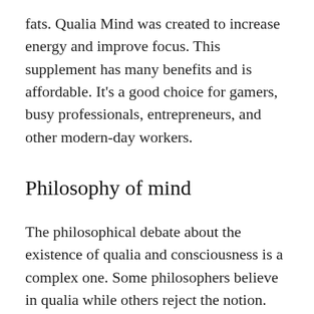fats. Qualia Mind was created to increase energy and improve focus. This supplement has many benefits and is affordable. It’s a good choice for gamers, busy professionals, entrepreneurs, and other modern-day workers.
Philosophy of mind
The philosophical debate about the existence of qualia and consciousness is a complex one. Some philosophers believe in qualia while others reject the notion. Qualia is defined based on neurophysiological and philosophical presuppositions. The debate, regardless of which side you are on, is well worth the effort. It raises deep philosophical questions about the philosophy of the mind. While some materialists deny the existence of qualia, others accept the